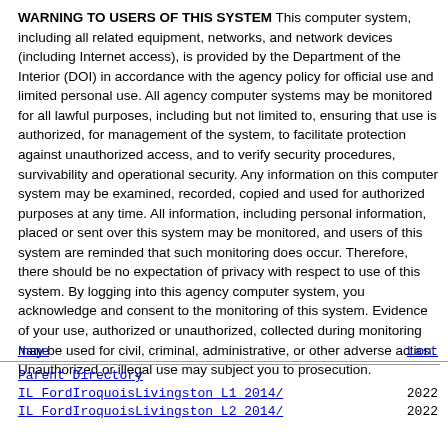WARNING TO USERS OF THIS SYSTEM This computer system, including all related equipment, networks, and network devices (including Internet access), is provided by the Department of the Interior (DOI) in accordance with the agency policy for official use and limited personal use. All agency computer systems may be monitored for all lawful purposes, including but not limited to, ensuring that use is authorized, for management of the system, to facilitate protection against unauthorized access, and to verify security procedures, survivability and operational security. Any information on this computer system may be examined, recorded, copied and used for authorized purposes at any time. All information, including personal information, placed or sent over this system may be monitored, and users of this system are reminded that such monitoring does occur. Therefore, there should be no expectation of privacy with respect to use of this system. By logging into this agency computer system, you acknowledge and consent to the monitoring of this system. Evidence of your use, authorized or unauthorized, collected during monitoring may be used for civil, criminal, administrative, or other adverse action. Unauthorized or illegal use may subject you to prosecution.
| Name | Last |
| --- | --- |
| Parent Directory |  |
| IL FordIroquoisLivingston L1 2014/ | 2022 |
| IL FordIroquoisLivingston L2 2014/ | 2022 |